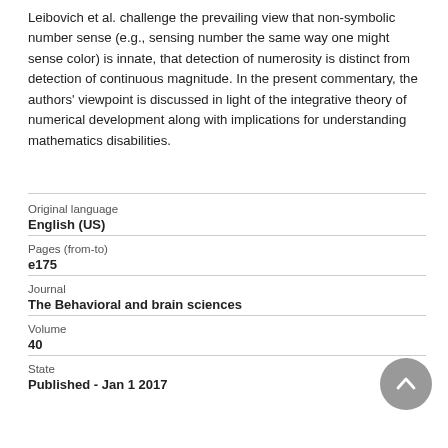Leibovich et al. challenge the prevailing view that non-symbolic number sense (e.g., sensing number the same way one might sense color) is innate, that detection of numerosity is distinct from detection of continuous magnitude. In the present commentary, the authors' viewpoint is discussed in light of the integrative theory of numerical development along with implications for understanding mathematics disabilities.
| Original language | English (US) |
| Pages (from-to) | e175 |
| Journal | The Behavioral and brain sciences |
| Volume | 40 |
| State | Published - Jan 1 2017 |